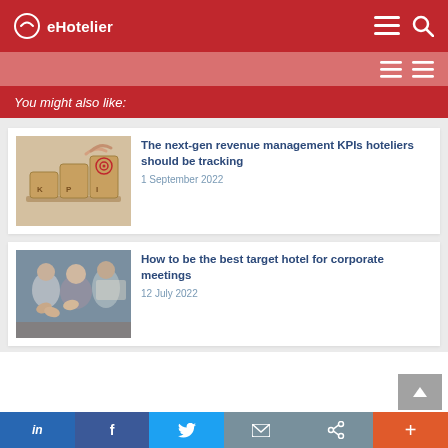eHotelier
You might also like:
[Figure (photo): KPI wooden blocks with hand placing target block on top — KPI revenue management image]
The next-gen revenue management KPIs hoteliers should be tracking
1 September 2022
[Figure (photo): Business people applauding at a corporate meeting]
How to be the best target hotel for corporate meetings
12 July 2022
in  f  Twitter  Email  Share  +